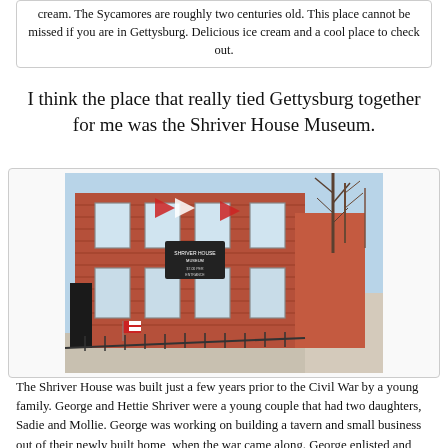cream. The Sycamores are roughly two centuries old. This place cannot be missed if you are in Gettysburg. Delicious ice cream and a cool place to check out.
I think the place that really tied Gettysburg together for me was the Shriver House Museum.
[Figure (photo): Exterior photograph of the Shriver House Museum, a red brick two-story building with a sign reading 'Shriver House Museum', American flags and red/white bunting decorating the facade, a black iron fence in the foreground, bare trees visible to the right, and a sidewalk along the right side.]
The Shriver House was built just a few years prior to the Civil War by a young family. George and Hettie Shriver were a young couple that had two daughters, Sadie and Mollie. George was working on building a tavern and small business out of their newly built home, when the war came along. George enlisted and was out fighting. When it became apparent that a battle was going to take place in Gettysburg, Hettie took their two young daughters out to her grandfather's farm that was located between Big and Little Round Tops. Little did she know that this is where